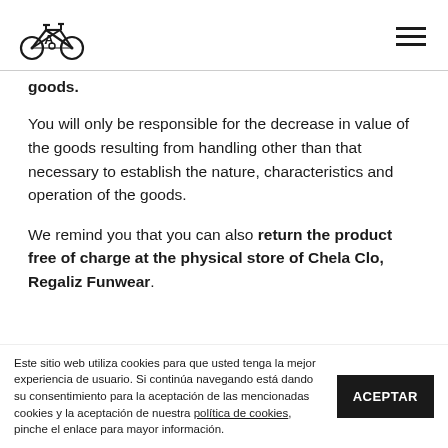[Bicycle logo] [Hamburger menu]
goods.
You will only be responsible for the decrease in value of the goods resulting from handling other than that necessary to establish the nature, characteristics and operation of the goods.
We remind you that you can also return the product free of charge at the physical store of Chela Clo, Regaliz Funwear.
Este sitio web utiliza cookies para que usted tenga la mejor experiencia de usuario. Si continúa navegando está dando su consentimiento para la aceptación de las mencionadas cookies y la aceptación de nuestra política de cookies, pinche el enlace para mayor información.